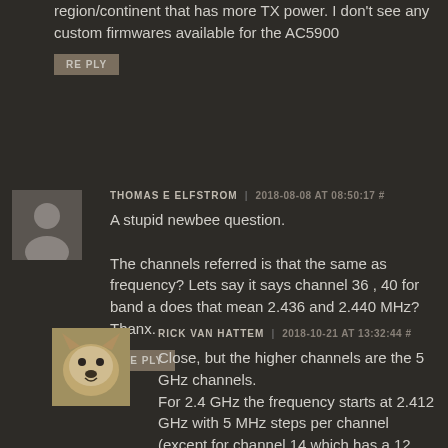region/continent that has more TX power. I don't see any custom firmwares available for the AC5900
REPLY
THOMAS E ELFSTROM | 2018-08-08 AT 08:50:17 #
A stupid newbee question.

The channels referred is that the same as frequency? Lets say it says channel 36 , 40 for band a does that mean 2.436 and 2.440 MHz? Thanx.
REPLY
RICK VAN HATTEM | 2018-10-21 AT 13:32:44 #
Close, but the higher channels are the 5 GHz channels.
For 2.4 GHz the frequency starts at 2.412 GHz with 5 MHz steps per channel (except for channel 14 which has a 12 MHz step)
For 5 GHz it starts at 5.16 GHz for channel 32...